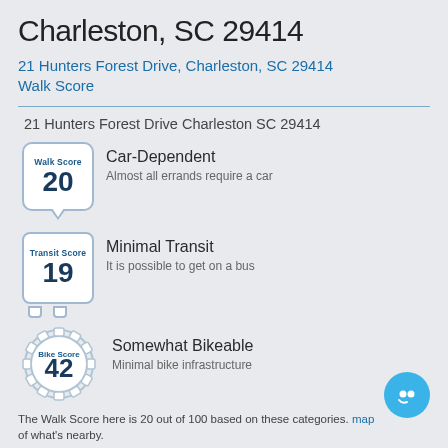Charleston, SC 29414
21 Hunters Forest Drive, Charleston, SC 29414
Walk Score
21 Hunters Forest Drive Charleston SC 29414
[Figure (infographic): Walk Score badge showing score of 20 with speech bubble icon, label Car-Dependent, description Almost all errands require a car]
[Figure (infographic): Transit Score badge showing score of 19 with bus icon, label Minimal Transit, description It is possible to get on a bus]
[Figure (infographic): Bike Score badge showing score of 42 with gear/cog icon, label Somewhat Bikeable, description Minimal bike infrastructure]
The Walk Score here is 20 out of 100 based on these categories. map of what's nearby.